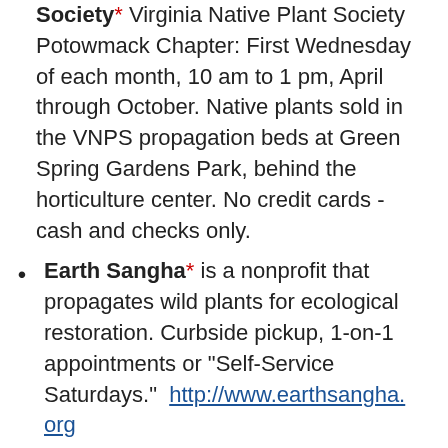Society* Virginia Native Plant Society Potowmack Chapter: First Wednesday of each month, 10 am to 1 pm, April through October. Native plants sold in the VNPS propagation beds at Green Spring Gardens Park, behind the horticulture center. No credit cards - cash and checks only.
Earth Sangha* is a nonprofit that propagates wild plants for ecological restoration. Curbside pickup, 1-on-1 appointments or "Self-Service Saturdays."  http://www.earthsangha.org
A little further afield
Hill House Farm and Nursery*  Native Plants for Harmonious Gardens  Castleton, VA  Curbside pickup and delivery